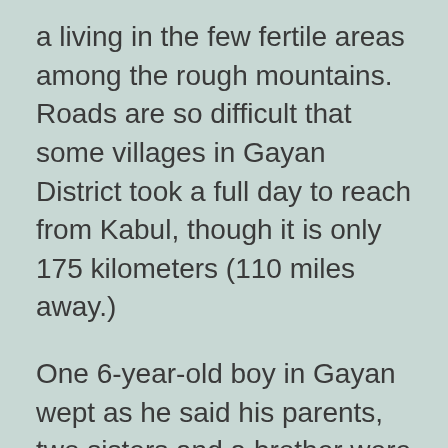a living in the few fertile areas among the rough mountains. Roads are so difficult that some villages in Gayan District took a full day to reach from Kabul, though it is only 175 kilometers (110 miles away.)
One 6-year-old boy in Gayan wept as he said his parents, two sisters and a brother were all dead. He had fled the ruins of his own home and took refuge with the neighbors.
Source